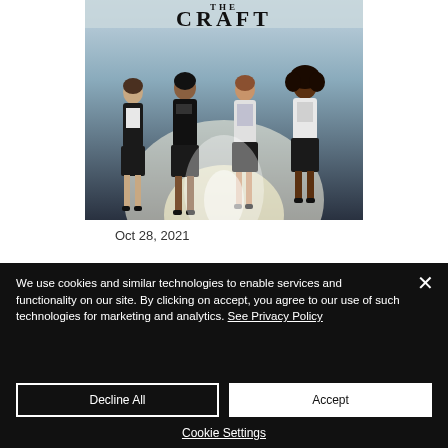[Figure (photo): Movie poster for 'The Craft' showing four young women standing in a row against a bright light background, all wearing dark clothing with skirts. The title 'THE CRAFT' appears at the top.]
Oct 28, 2021
We use cookies and similar technologies to enable services and functionality on our site. By clicking on accept, you agree to our use of such technologies for marketing and analytics. See Privacy Policy
Decline All
Accept
Cookie Settings